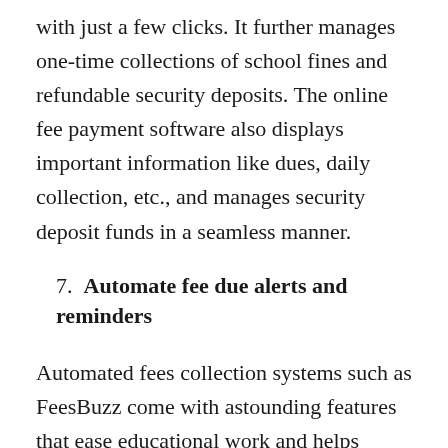with just a few clicks. It further manages one-time collections of school fines and refundable security deposits. The online fee payment software also displays important information like dues, daily collection, etc., and manages security deposit funds in a seamless manner.
7.  Automate fee due alerts and reminders
Automated fees collection systems such as FeesBuzz come with astounding features that ease educational work and helps schools set automated fee due alerts and reminders. It sends alerts to students and parents before fees are due or for unscheduled fees.